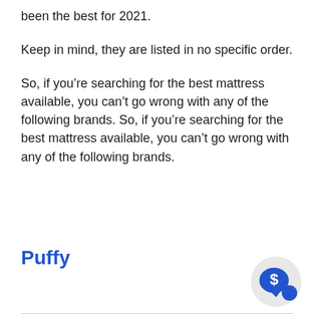below you'll find the 10 mattresses that have been the best for 2021.
Keep in mind, they are listed in no specific order.
So, if you’re searching for the best mattress available, you can’t go wrong with any of the following brands. So, if you’re searching for the best mattress available, you can’t go wrong with any of the following brands.
Puffy
[Figure (illustration): A circular chat bubble icon with a dollar sign, grey background circle, blue speech bubble with white dollar sign symbol, positioned bottom right]